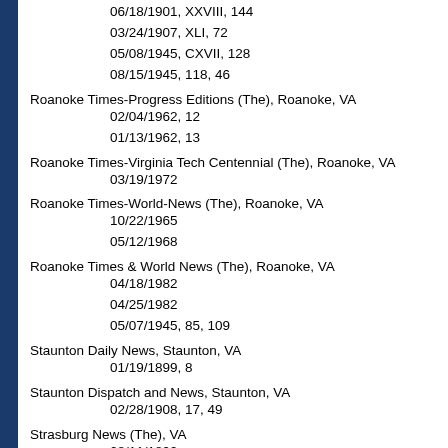06/18/1901, XXVIII, 144
03/24/1907, XLI, 72
05/08/1945, CXVII, 128
08/15/1945, 118, 46
Roanoke Times-Progress Editions (The), Roanoke, VA
02/04/1962, 12
01/13/1962, 13
Roanoke Times-Virginia Tech Centennial (The), Roanoke, VA
03/19/1972
Roanoke Times-World-News (The), Roanoke, VA
10/22/1965
05/12/1968
Roanoke Times & World News (The), Roanoke, VA
04/18/1982
04/25/1982
05/07/1945, 85, 109
Staunton Daily News, Staunton, VA
01/19/1899, 8
Staunton Dispatch and News, Staunton, VA
02/28/1908, 17, 49
Strasburg News (The), VA
08/11/1899
Strikes (List-5 pages), VA
12/09/1940-02/21/1940
Tidewater Democrat (The), Tappahanock, VA
08/10/1897, I, 46
Times-Register (The), Salem, VA